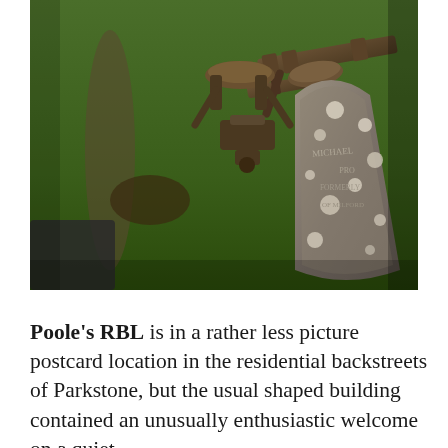[Figure (photo): An outdoor scene showing a weathered stone gravestone or marker with lichen spots in the foreground, and wooden picnic bench furniture on grass in the background. The photo is taken from a raised angle looking down across a grassy churchyard or pub garden setting.]
Poole's RBL is in a rather less picture postcard location in the residential backstreets of Parkstone, but the usual shaped building contained an unusually enthusiastic welcome on a quiet